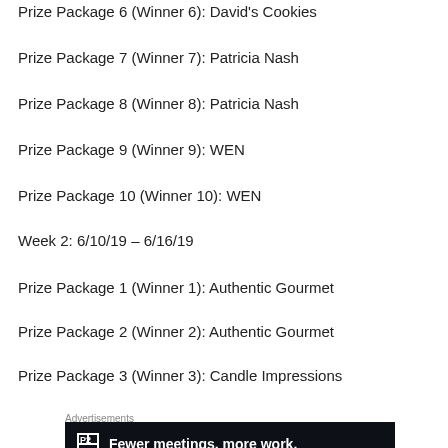Prize Package 6 (Winner 6): David's Cookies
Prize Package 7 (Winner 7): Patricia Nash
Prize Package 8 (Winner 8): Patricia Nash
Prize Package 9 (Winner 9): WEN
Prize Package 10 (Winner 10): WEN
Week 2: 6/10/19 – 6/16/19
Prize Package 1 (Winner 1): Authentic Gourmet
Prize Package 2 (Winner 2): Authentic Gourmet
Prize Package 3 (Winner 3): Candle Impressions
Advertisements
[Figure (screenshot): Advertisement banner: P2 logo with text 'Fewer meetings, more work.']